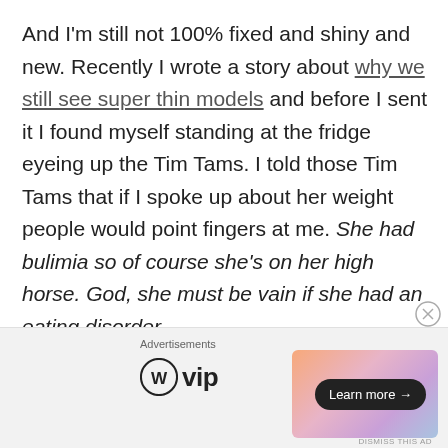And I'm still not 100% fixed and shiny and new. Recently I wrote a story about why we still see super thin models and before I sent it I found myself standing at the fridge eyeing up the Tim Tams. I told those Tim Tams that if I spoke up about her weight people would point fingers at me. She had bulimia so of course she's on her high horse. God, she must be vain if she had an eating disorder...
[Figure (other): Advertisement bar with WordPress VIP logo and a gradient banner ad with a 'Learn more' button]